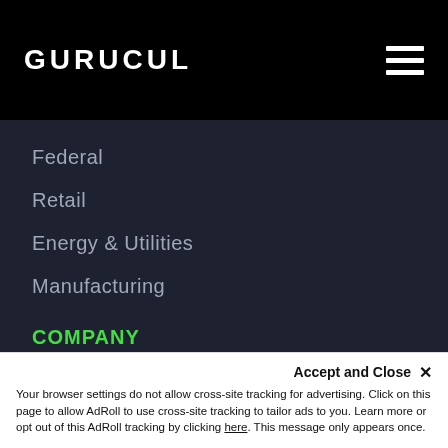GURUCUL
Federal
Retail
Energy & Utilities
Manufacturing
COMPANY
About Gurucul
Leadership
Accept and Close ✕
Your browser settings do not allow cross-site tracking for advertising. Click on this page to allow AdRoll to use cross-site tracking to tailor ads to you. Learn more or opt out of this AdRoll tracking by clicking here. This message only appears once.